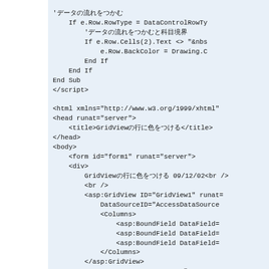code snippet showing VB.NET/ASP.NET GridView source with Japanese comments